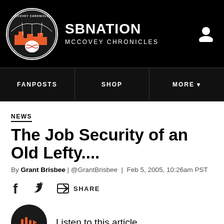[Figure (logo): SB Nation McCovey Chronicles logo with circular emblem on black header bar]
SBNATION MCCOVEY CHRONICLES
FANPOSTS | SHOP | MORE
NEWS
The Job Security of an Old Lefty....
By Grant Brisbee | @GrantBrisbee | Feb 5, 2005, 10:26am PST
Listen to this article